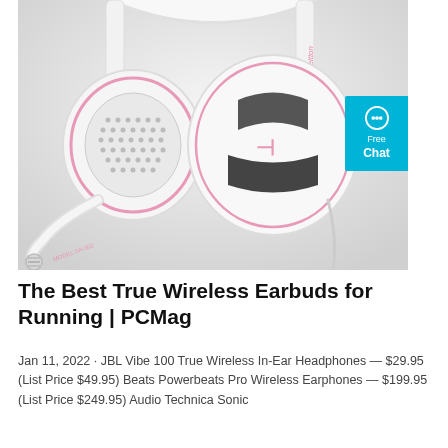[Figure (photo): A white and pink gaming headset (Leitton brand, model SA-902) with a detachable microphone arm, perforated ear cushions, and a pink logo, photographed on a light grey background. A blue 'Free Chat' badge/button is visible on the right side of the image.]
The Best True Wireless Earbuds for Running | PCMag
Jan 11, 2022 · JBL Vibe 100 True Wireless In-Ear Headphones — $29.95 (List Price $49.95) Beats Powerbeats Pro Wireless Earphones — $199.95 (List Price $249.95) Audio Technica Sonic